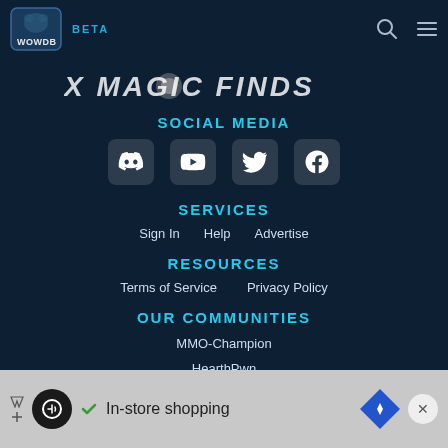WOWDB BETA
[Figure (illustration): X MAGIC FINDS banner text, partially obscured by a settings/cog icon overlay]
SOCIAL MEDIA
[Figure (infographic): Four social media icons: Discord, YouTube, Twitter, Facebook — white icons on dark rounded square backgrounds]
SERVICES
Sign In
Help
Advertise
RESOURCES
Terms of Service
Privacy Policy
OUR COMMUNITIES
MMO-Champion
HearthPwn
In-store shopping — advertisement banner